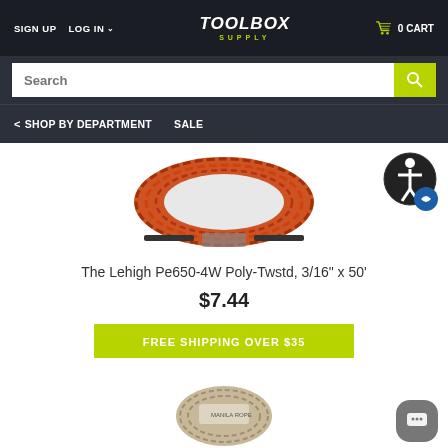SIGN UP  LOG IN  TOOLBOX SUPPLY  0 CART
Search
< SHOP BY DEPARTMENT   SALE
[Figure (photo): Orange twisted poly rope coil, product photo]
The Lehigh Pe650-4W Poly-Twstd, 3/16" x 50'
$7.44
FREE SHIPPING OVER $35
[Figure (photo): Beige/tan rope ball, product photo, partially visible at bottom]